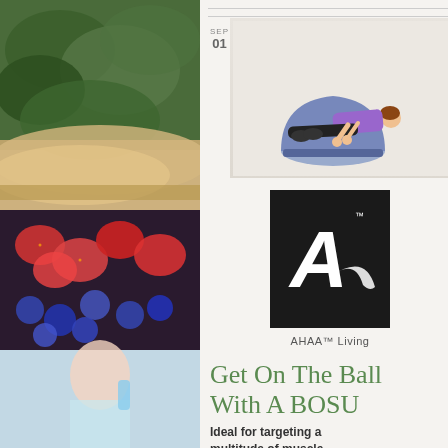[Figure (photo): Left sidebar collage showing healthy foods: green vegetables, berries/fruit, and a woman drinking water]
[Figure (photo): Right sidebar showing salad and woman exercising with dumbbell]
[Figure (photo): Woman doing push-up exercise on a BOSU ball, white background]
[Figure (logo): AHAA logo - white letter A with swoosh on black square background]
AHAA™ Living
SEP
01
Get On The Ball With A BOSU
Ideal for targeting a multitude of muscle